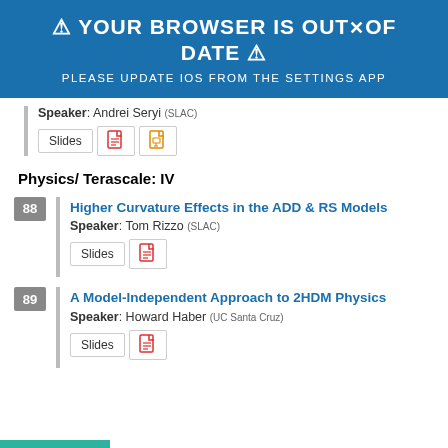⚠ YOUR BROWSER IS OUT OF DATE ⚠
PLEASE UPDATE IOS FROM THE SETTINGS APP
Speaker: Andrei Seryi (SLAC)
Slides
Physics/ Terascale: IV
88 Higher Curvature Effects in the ADD & RS Models
Speaker: Tom Rizzo (SLAC)
Slides
89 A Model-Independent Approach to 2HDM Physics
Speaker: Howard Haber (UC Santa Cruz)
Slides